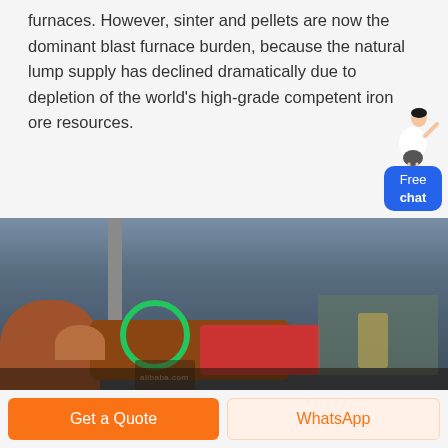furnaces. However, sinter and pellets are now the dominant blast furnace burden, because the natural lump supply has declined dramatically due to depletion of the world's high-grade competent iron ore resources.
[Figure (photo): Industrial site photograph showing large cylindrical furnace equipment, a chimney stack, red machinery, and workers in the foreground against an overcast sky. A green circular logo/watermark is visible in the center.]
Get a Quote
WhatsApp